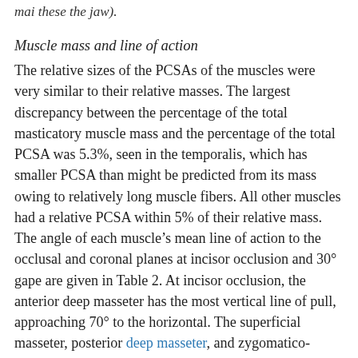mai these the jaw).
Muscle mass and line of action
The relative sizes of the PCSAs of the muscles were very similar to their relative masses. The largest discrepancy between the percentage of the total masticatory muscle mass and the percentage of the total PCSA was 5.3%, seen in the temporalis, which has smaller PCSA than might be predicted from its mass owing to relatively long muscle fibers. All other muscles had a relative PCSA within 5% of their relative mass. The angle of each muscle's mean line of action to the occlusal and coronal planes at incisor occlusion and 30° gape are given in Table 2. At incisor occlusion, the anterior deep masseter has the most vertical line of pull, approaching 70° to the horizontal. The superficial masseter, posterior deep masseter, and zygomatico-mandibularis also have strongly vertical lines of action (over 50°). As the jaw opens to 30° gape, the actions of the superficial masseter, deep masseter, and medial pterygoid muscles become less vertical, whereas that of the zygomatico-mandibularis, temporalis and posterior masseter become more so. The last two muscles also have a strongly posterior pull at incisor occlusion (-40° to the coronal plane), but only the temporalis retains this direction of pull at 30° gape. The superficial masseter and posterior deep masseter have the most strongly anterior lines of actions at both gapes measured in this